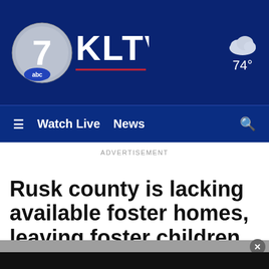KLTV ABC 7 - Watch Live  News  74°
ADVERTISEMENT
Rusk county is lacking available foster homes, leaving foster children to relocate